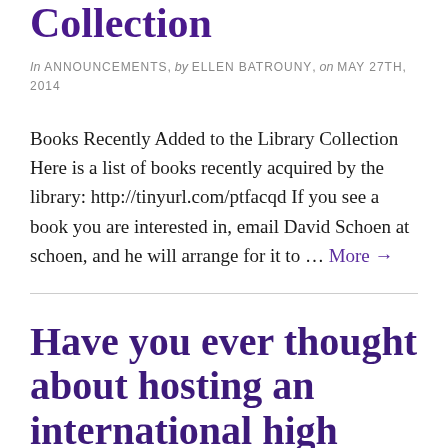Collection
In ANNOUNCEMENTS, by ELLEN BATROUNY, on MAY 27TH, 2014
Books Recently Added to the Library Collection Here is a list of books recently acquired by the library: http://tinyurl.com/ptfacqd If you see a book you are interested in, email David Schoen at schoen, and he will arrange for it to … More →
Have you ever thought about hosting an international high